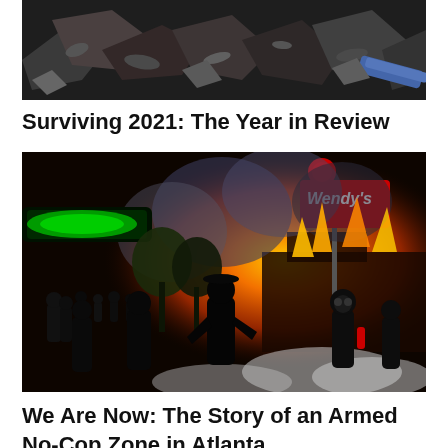[Figure (photo): Aerial or close-up view of debris, rubble and destruction on dark ground]
Surviving 2021: The Year in Review
[Figure (photo): Nighttime scene of a Wendy's restaurant on fire with silhouetted crowds of people in front of the blaze, smoke and flames visible]
We Are Now: The Story of an Armed No-Cop Zone in Atlanta